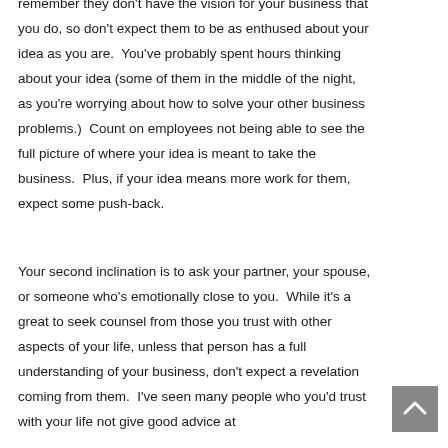remember they don't have the vision for your business that you do, so don't expect them to be as enthused about your idea as you are.  You've probably spent hours thinking about your idea (some of them in the middle of the night, as you're worrying about how to solve your other business problems.)  Count on employees not being able to see the full picture of where your idea is meant to take the business.  Plus, if your idea means more work for them, expect some push-back.
Your second inclination is to ask your partner, your spouse, or someone who's emotionally close to you.  While it's a great to seek counsel from those you trust with other aspects of your life, unless that person has a full understanding of your business, don't expect a revelation coming from them.  I've seen many people who you'd trust with your life not give good advice at